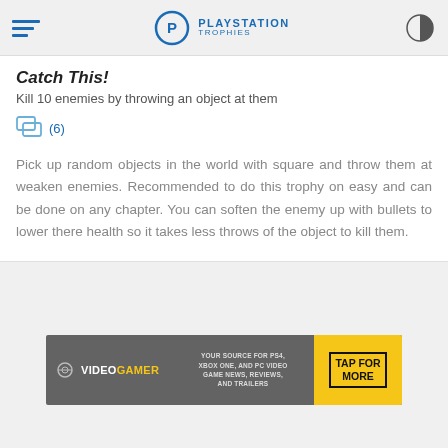PlayStation Trophies
Catch This!
Kill 10 enemies by throwing an object at them
(6)
Pick up random objects in the world with square and throw them at weaken enemies. Recommended to do this trophy on easy and can be done on any chapter. You can soften the enemy up with bullets to lower there health so it takes less throws of the object to kill them.
[Figure (infographic): VideoGamer advertisement banner: YOUR SOURCE FOR PS4, XBOX ONE, AND PC VIDEO GAME NEWS, REVIEWS, AND TRAILERS. TAP FOR MORE.]